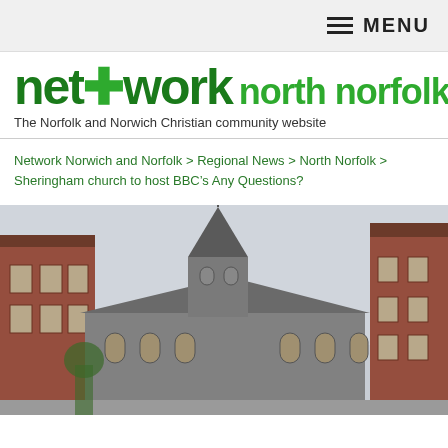≡ MENU
network north norfolk
The Norfolk and Norwich Christian community website
Network Norwich and Norfolk > Regional News > North Norfolk > Sheringham church to host BBC's Any Questions?
[Figure (photo): Photograph of a stone church with a pointed steeple/spire in Sheringham, with red brick buildings on either side, under an overcast sky.]